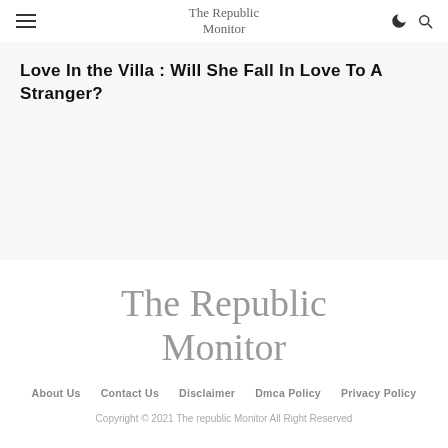The Republic Monitor
Love In the Villa : Will She Fall In Love To A Stranger?
The Republic Monitor
About Us | Contact Us | Disclaimer | Dmca Policy | Privacy Policy
Copyright © 2021 The republic Monitor All Right Reserved